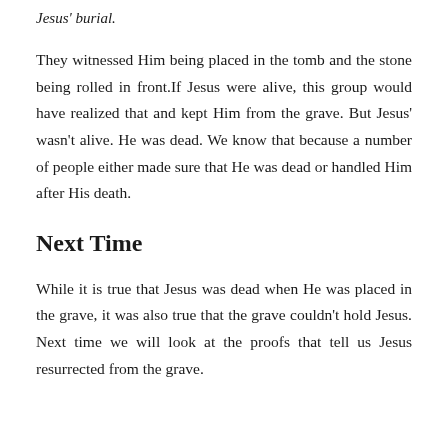Jesus' burial.
They witnessed Him being placed in the tomb and the stone being rolled in front.If Jesus were alive, this group would have realized that and kept Him from the grave. But Jesus' wasn't alive. He was dead. We know that because a number of people either made sure that He was dead or handled Him after His death.
Next Time
While it is true that Jesus was dead when He was placed in the grave, it was also true that the grave couldn't hold Jesus. Next time we will look at the proofs that tell us Jesus resurrected from the grave.